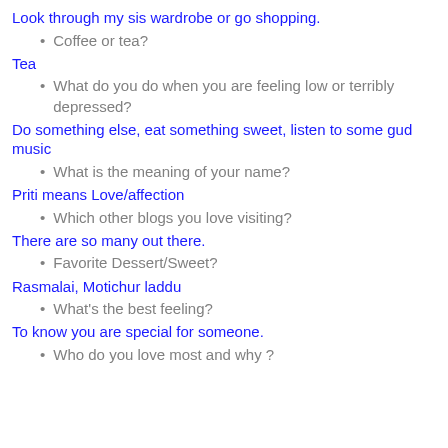Look through my sis wardrobe or go shopping.
Coffee or tea?
Tea
What do you do when you are feeling low or terribly depressed?
Do something else, eat something sweet, listen to some gud music
What is the meaning of your name?
Priti means Love/affection
Which other blogs you love visiting?
There are so many out there.
Favorite Dessert/Sweet?
Rasmalai, Motichur laddu
What's the best feeling?
To know you are special for someone.
Who do you love most and why ?